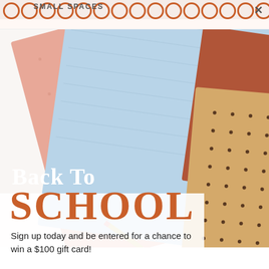SMALL SPACES
[Figure (photo): Overhead view of overlapping pastel-colored notebooks and dotted journals arranged at angles on a white surface, with a pencil visible. Colors include light blue, peach/salmon, and kraft brown with dark dots.]
Back To SCHOOL
Sign up today and be entered for a chance to win a $100 gift card!